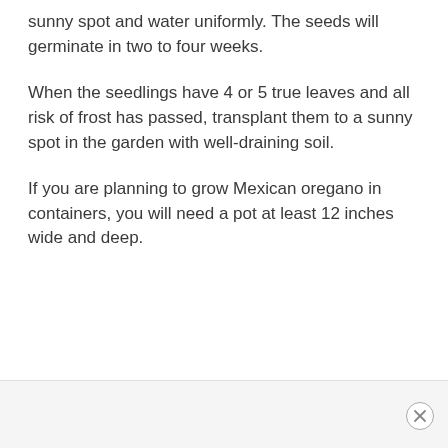sunny spot and water uniformly. The seeds will germinate in two to four weeks.
When the seedlings have 4 or 5 true leaves and all risk of frost has passed, transplant them to a sunny spot in the garden with well-draining soil.
If you are planning to grow Mexican oregano in containers, you will need a pot at least 12 inches wide and deep.